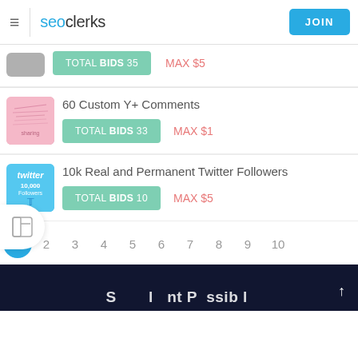seoclerks  JOIN
TOTAL BIDS 35   MAX $5
60 Custom Y+ Comments
TOTAL BIDS 33   MAX $1
10k Real and Permanent Twitter Followers
TOTAL BIDS 10   MAX $5
1 2 3 4 5 6 7 8 9 10